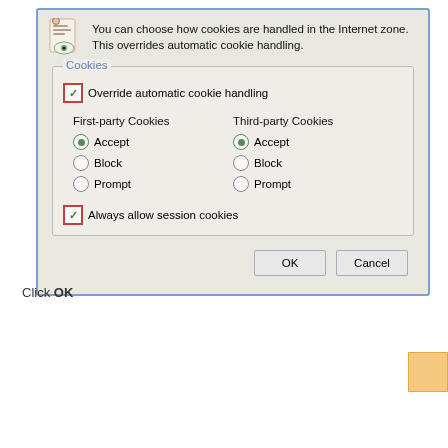[Figure (screenshot): Windows Internet Explorer Advanced Privacy Settings dialog - top portion showing Cookies section with Override automatic cookie handling checkbox checked (red border), First-party and Third-party cookie radio buttons (Accept selected for both), and Always allow session cookies checkbox checked (red border). OK and Cancel buttons at bottom.]
Click OK
[Figure (screenshot): Windows Internet Explorer Advanced Privacy Settings dialog - bottom portion with blue title bar showing 'Advanced Privacy Settings' and close X button. Shows cookie description text and Cookies section with Override automatic cookie handling checkbox. Orange sticky note annotation visible at right edge.]